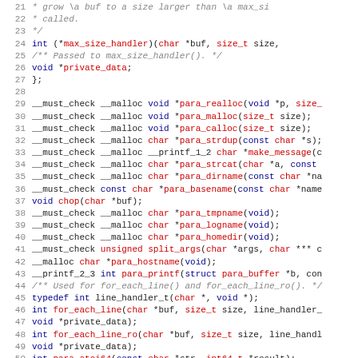[Figure (screenshot): Source code listing in C, lines 21-52, showing struct member declarations and function prototypes with syntax highlighting (keywords in dark blue, types/function names in red, comments in gray italic, line numbers in gray).]